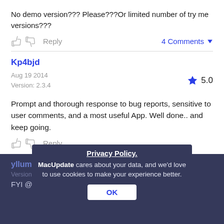No demo version??? Please???Or limited number of try me versions???
Reply   4 Comments
Kp4bjd
Aug 19 2014
Version: 2.3.4
5.0
Prompt and thorough response to bug reports, sensitive to user comments, and a most useful App. Well done.. and keep going.
Reply
ylluminate
Privacy Policy.
MacUpdate cares about your data, and we'd love to use cookies to make your experience better.
Version: 3.18
FYI @MacUpdate and developer, please note
OK